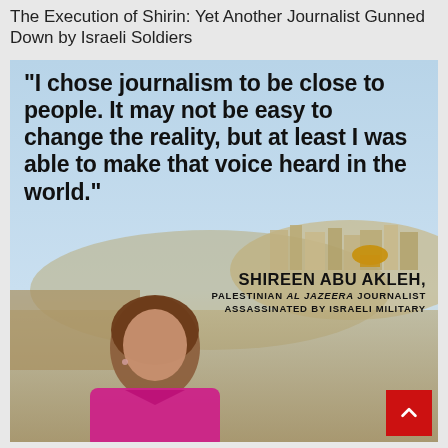The Execution of Shirin: Yet Another Journalist Gunned Down by Israeli Soldiers
[Figure (photo): Promotional/memorial image of Shireen Abu Akleh with a large quote overlaid on a photo of her standing in front of a Jerusalem cityscape. The quote reads: "I chose journalism to be close to people. It may not be easy to change the reality, but at least I was able to make that voice heard in the world." Attribution: SHIREEN ABU AKLEH, PALESTINIAN AL JAZEERA JOURNALIST ASSASSINATED BY ISRAELI MILITARY. A red scroll-to-top button appears in the bottom right corner.]